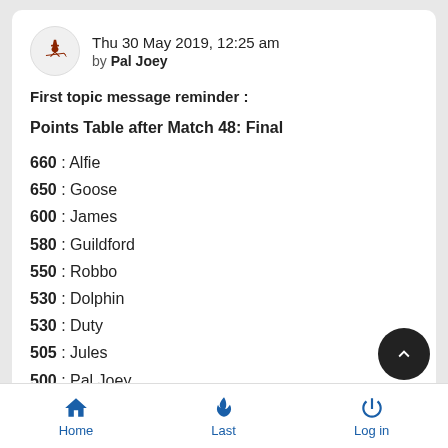Thu 30 May 2019, 12:25 am by Pal Joey
First topic message reminder :
Points Table after Match 48: Final
660 : Alfie
650 : Goose
600 : James
580 : Guildford
550 : Robbo
530 : Dolphin
530 : Duty
505 : Jules
500 : Pal Joey
495 : Tiger
Home    Last    Log in